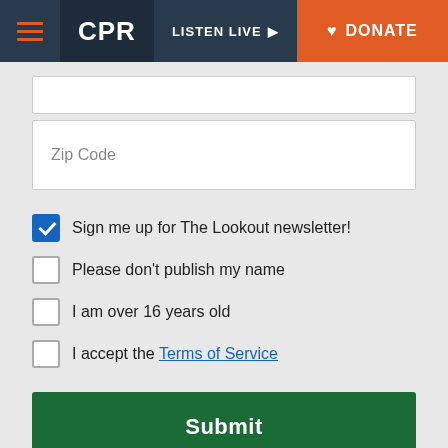CPR | LISTEN LIVE | DONATE
[Figure (screenshot): Partial input field (top of zip code area or previous field)]
Zip Code
Sign me up for The Lookout newsletter!
Please don't publish my name
I am over 16 years old
I accept the Terms of Service
Submit
Powered by Hearken | Terms of Service | Privacy Policy
Latest Stories